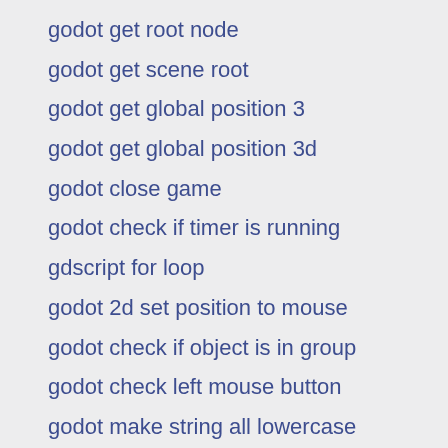godot get root node
godot get scene root
godot get global position 3
godot get global position 3d
godot close game
godot check if timer is running
gdscript for loop
godot 2d set position to mouse
godot check if object is in group
godot check left mouse button
godot make string all lowercase
godot exit func
godot progrssbar set max value in code
godot ignore function